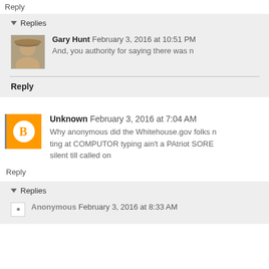Reply
▾ Replies
Gary Hunt February 3, 2016 at 10:51 PM
And, you authority for saying there was n
Reply
Unknown February 3, 2016 at 7:04 AM
Why anonymous did the Whitehouse.gov folks ting at COMPUTOR typing ain't a PAtriot SORE silent till called on
Reply
▾ Replies
Anonymous February 3, 2016 at 8:33 AM